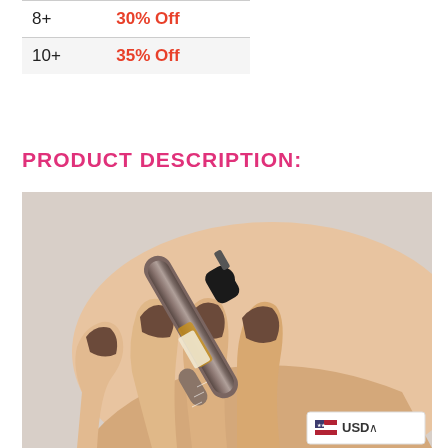| Quantity | Discount |
| --- | --- |
| 8+ | 30% Off |
| 10+ | 35% Off |
PRODUCT DESCRIPTION:
[Figure (photo): A hand with brown painted nails holding a small vape pen or cartridge device, close-up product photo]